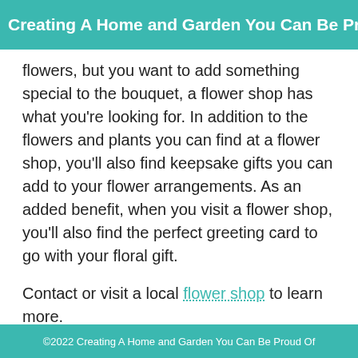Creating A Home and Garden You Can Be Proud O
flowers, but you want to add something special to the bouquet, a flower shop has what you're looking for. In addition to the flowers and plants you can find at a flower shop, you'll also find keepsake gifts you can add to your flower arrangements. As an added benefit, when you visit a flower shop, you'll also find the perfect greeting card to go with your floral gift.
Contact or visit a local flower shop to learn more.
Share
[Figure (other): Social media share buttons: Facebook, Twitter, Google+, LinkedIn]
©2022 Creating A Home and Garden You Can Be Proud Of